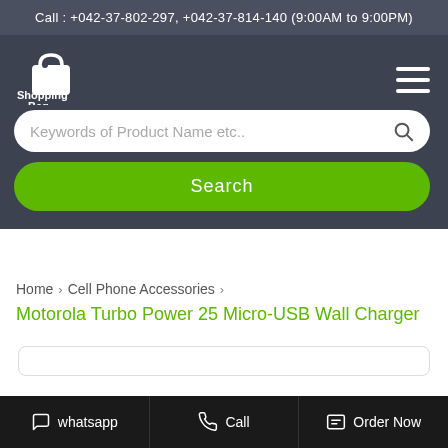Call : +042-37-802-297, +042-37-814-140 (9:00AM to 9:00PM)
[Figure (logo): Shopping Bag store logo with shopping bag icon and text 'Shopping Bag']
Keywords of Product Name etc..
Search
Home > Cell Phone Accessories >
Motorola Turbo Power 25 Micro-USB Wall Charger
whatsapp   Call   Order Now